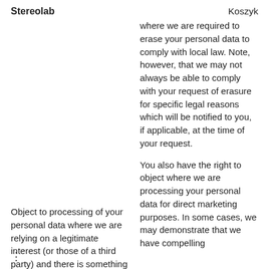Stereolab    Koszyk
where we are required to erase your personal data to comply with local law. Note, however, that we may not always be able to comply with your request of erasure for specific legal reasons which will be notified to you, if applicable, at the time of your request.
Object to processing of your personal data where we are relying on a legitimate interest (or those of a third party) and there is something about your particular situation which
You also have the right to object where we are processing your personal data for direct marketing purposes. In some cases, we may demonstrate that we have compelling